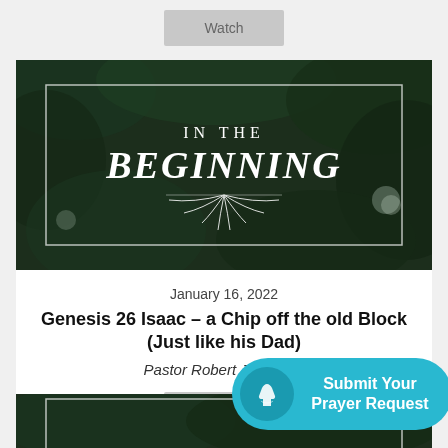[Figure (screenshot): Gray 'Watch' button at top of page]
[Figure (photo): Dark green lush foliage background with white rectangle border containing text 'IN THE BEGINNING' and a decorative leaf/fern emblem beneath]
January 16, 2022
Genesis 26 Isaac – a Chip off the old Block (Just like his Dad)
Pastor Robert Jacobsen
[Figure (screenshot): Gray 'Watch' button below sermon details]
[Figure (screenshot): Teal 'Submit Your Prayer Request' floating button with praying hands icon at bottom right]